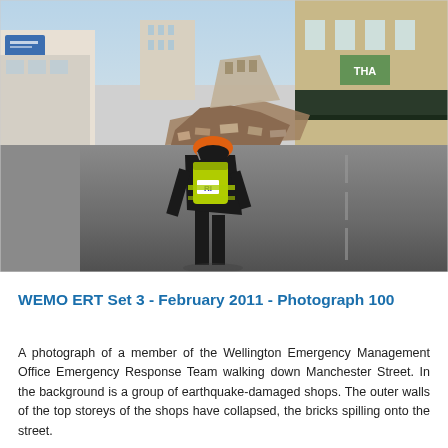[Figure (photo): A photograph showing a member of the Wellington Emergency Management Office Emergency Response Team wearing a black uniform, orange helmet, and yellow-green backpack, walking down Manchester Street. In the background are earthquake-damaged shops with collapsed outer walls and bricks spilling onto the street.]
WEMO ERT Set 3 - February 2011 - Photograph 100
A photograph of a member of the Wellington Emergency Management Office Emergency Response Team walking down Manchester Street. In the background is a group of earthquake-damaged shops. The outer walls of the top storeys of the shops have collapsed, the bricks spilling onto the street.